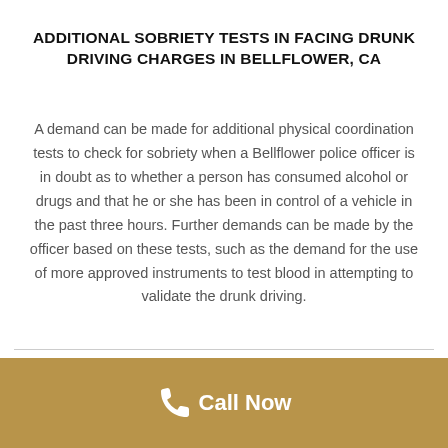ADDITIONAL SOBRIETY TESTS IN FACING DRUNK DRIVING CHARGES IN BELLFLOWER, CA
A demand can be made for additional physical coordination tests to check for sobriety when a Bellflower police officer is in doubt as to whether a person has consumed alcohol or drugs and that he or she has been in control of a vehicle in the past three hours. Further demands can be made by the officer based on these tests, such as the demand for the use of more approved instruments to test blood in attempting to validate the drunk driving.
Call Now